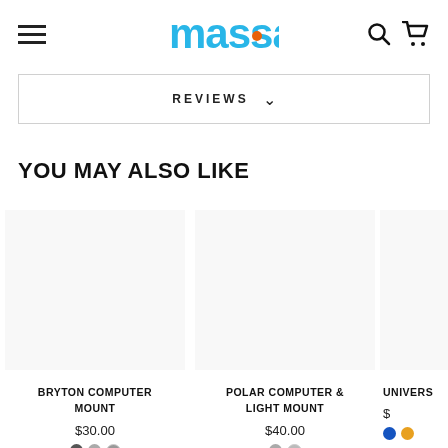Massa - Navigation header with hamburger menu, logo, search and cart icons
REVIEWS
YOU MAY ALSO LIKE
BRYTON COMPUTER MOUNT
$30.00
POLAR COMPUTER & LIGHT MOUNT
$40.00
UNIVERS
$